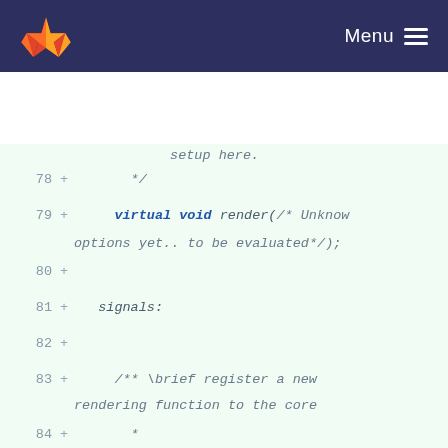GitLab header with logo and Menu
[Figure (screenshot): Code diff view showing lines 78-90 of a C++ header file with virtual render function, signals section, and Doxygen comments about registering a rendering function to core. Green-tinted background indicates added lines (+).]